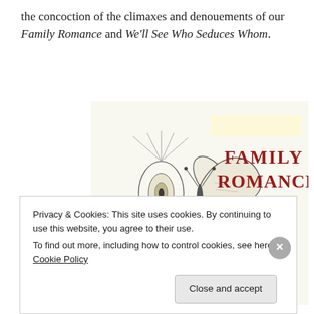the concoction of the climaxes and denouements of our Family Romance and We'll See Who Seduces Whom.
[Figure (illustration): Black and white pen illustration featuring a peacock feather and a butterfly with a large rose, overlaid with red vintage typography reading 'FAMILY ROMANCE' on a light yellow-tinted background patch.]
Privacy & Cookies: This site uses cookies. By continuing to use this website, you agree to their use.
To find out more, including how to control cookies, see here: Cookie Policy